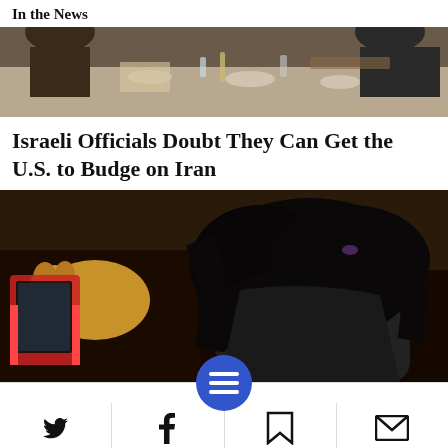In the News
[Figure (photo): People sitting around a table in a meeting room, viewed from above]
Israeli Officials Doubt They Can Get the U.S. to Budge on Iran
[Figure (photo): A person with dark hair bent over, holding a small object, with a dog and red tablet visible in background]
Navigation bar with Twitter, Facebook, menu, bookmark, and email icons